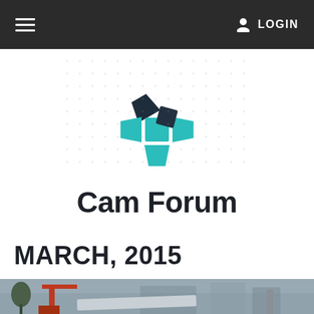☰  LOGIN
[Figure (logo): Cam Forum logo: teal and dark navy arrow shapes pointing inward, forming a pinwheel/compass pattern]
Cam Forum
MARCH, 2015
[Figure (photo): Outdoor construction site photo showing a crane, trees, and city buildings in the background under overcast grey sky]